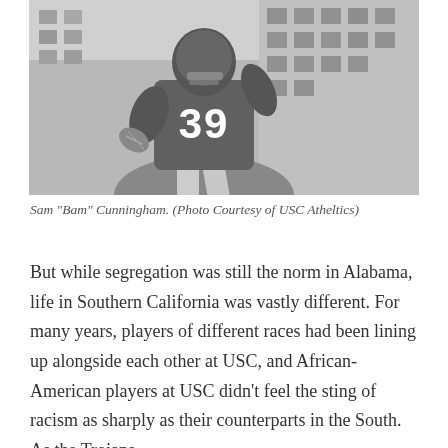[Figure (photo): Black and white photo of Sam 'Bam' Cunningham wearing jersey number 39, holding a football, posed in front of a building]
Sam "Bam" Cunningham. (Photo Courtesy of USC Atheltics)
But while segregation was still the norm in Alabama, life in Southern California was vastly different. For many years, players of different races had been lining up alongside each other at USC, and African-American players at USC didn't feel the sting of racism as sharply as their counterparts in the South. As the Trojans